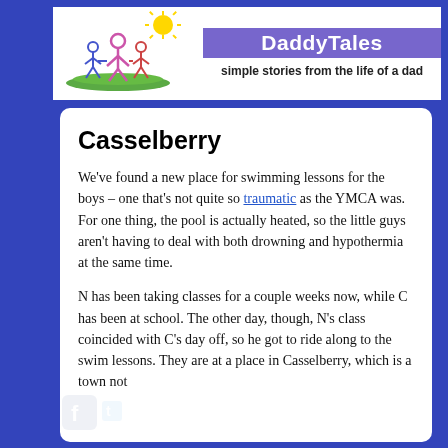DaddyTales — simple stories from the life of a dad
Casselberry
We've found a new place for swimming lessons for the boys – one that's not quite so traumatic as the YMCA was. For one thing, the pool is actually heated, so the little guys aren't having to deal with both drowning and hypothermia at the same time.
N has been taking classes for a couple weeks now, while C has been at school. The other day, though, N's class coincided with C's day off, so he got to ride along to the swim lessons. They are at a place in Casselberry, which is a town not